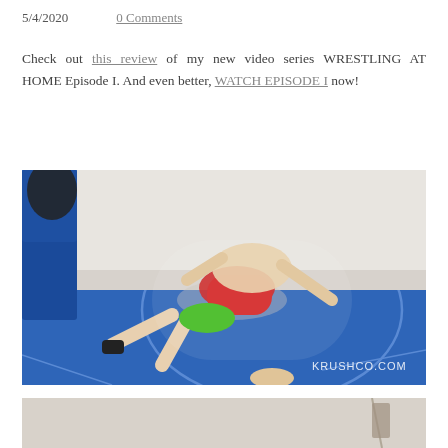5/4/2020    0 Comments
Check out this review of my new video series WRESTLING AT HOME Episode I. And even better, WATCH EPISODE I now!
[Figure (photo): Two wrestlers on a blue wrestling mat, one in red singlet and one in green shorts, with KRUSHCO.COM watermark in bottom right]
[Figure (photo): Partial view of a second photo, light-colored background, appears to be another wrestling scene]